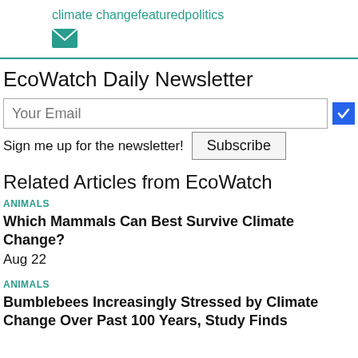climate changefeaturedpolitics
[Figure (illustration): Teal/green email envelope icon]
EcoWatch Daily Newsletter
Your Email [input field with blue checkbox]
Sign me up for the newsletter! Subscribe
Related Articles from EcoWatch
ANIMALS
Which Mammals Can Best Survive Climate Change?
Aug 22
ANIMALS
Bumblebees Increasingly Stressed by Climate Change Over Past 100 Years, Study Finds